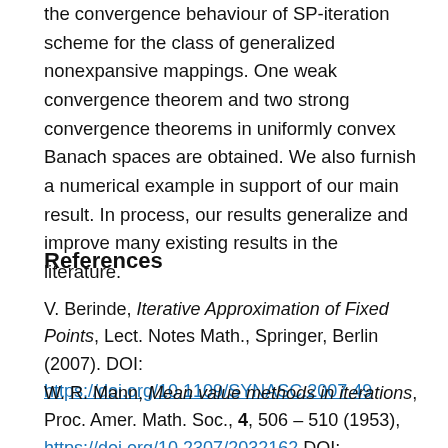the convergence behaviour of SP-iteration scheme for the class of generalized nonexpansive mappings. One weak convergence theorem and two strong convergence theorems in uniformly convex Banach spaces are obtained. We also furnish a numerical example in support of our main result. In process, our results generalize and improve many existing results in the literature.
References
V. Berinde, Iterative Approximation of Fixed Points, Lect. Notes Math., Springer, Berlin (2007). DOI: https://doi.org/10.1109/SYNASC.2007.49
W. R. Mann, Mean value methods in iterations, Proc. Amer. Math. Soc., 4, 506 – 510 (1953), https://doi.org/10.2307/2032162 DOI: